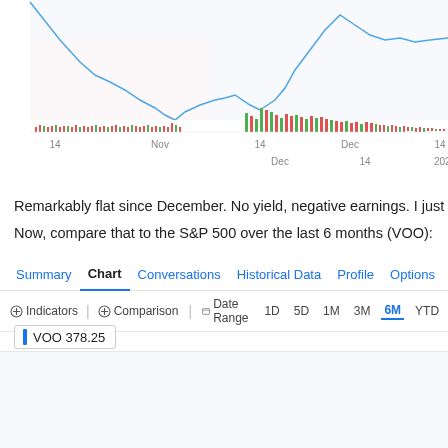[Figure (continuous-plot): Stock price chart showing a decline then recovery from October through early 2021, with volume bars (green and red) below. X-axis labels: 14, Nov, 14, (Dec area), Dec, 14, 2021. Blue line chart with volume bar chart below.]
Remarkably flat since December. No yield, negative earnings. I just c
Now, compare that to the S&P 500 over the last 6 months (VOO):
[Figure (screenshot): Yahoo Finance chart interface showing tabs: Summary, Chart (active/bold), Conversations, Historical Data, Profile, Options, Holdings. Controls: Indicators, Comparison, Date Range, 1D 5D 1M 3M 6M(active) YTD 1. VOO 378.25 label shown. Empty chart area below.]